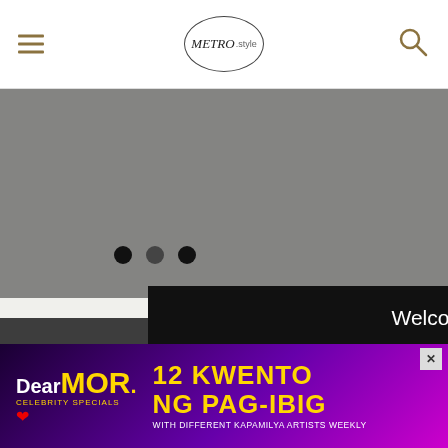METRO.style
[Figure (screenshot): Three navigation dots (pagination indicators) — two filled black circles and one slightly lighter circle]
Welcome!
We use cookies to improve your browsing experience. Continuing to use this site means you agree to our use of cookies.
Tell me more!
I Agree
the latest updates!
[Figure (infographic): Social media icons: Instagram, Facebook, Twitter, YouTube in gold/white color on dark background]
[Figure (screenshot): Advertisement banner: DearMOR Celebrity Specials — 12 Kwento Ng Pag-Ibig with different Kapamilya Artists Weekly, purple gradient background]